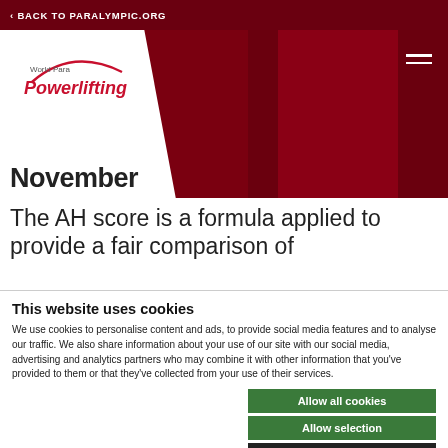< BACK TO PARALYMPIC.ORG — World Para Powerlifting header with navigation
November
The AH score is a formula applied to provide a fair comparison of
This website uses cookies
We use cookies to personalise content and ads, to provide social media features and to analyse our traffic. We also share information about your use of our site with our social media, advertising and analytics partners who may combine it with other information that you've provided to them or that they've collected from your use of their services.
Allow all cookies
Allow selection
Use necessary cookies
essary  Preferences  Statistics  Show details  keting